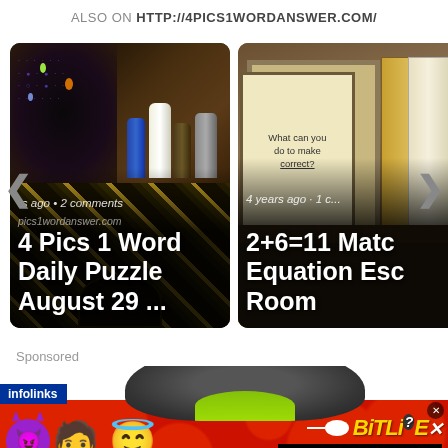ALSO ON HTTP://4PICS1WORDANSWER.COM/
[Figure (screenshot): Carousel showing two content cards. Left card: '4 Pics 1 Word Daily Puzzle August 29 ...' with comment metadata 'rs ago • 2 comments' and watermark 'pics1wordanswer.com'. Right card: '2+6=11 Match Equation Esc Room' with metadata '4 years ago'. Navigation arrows on sides.]
Sponsored
[Figure (screenshot): Advertisement banner: infolinks bar, hedgehog image, red background with emoji characters (devil, person, angel), BitLife logo in gold, 'REAL CHOICES' text in white on black. Close button top right.]